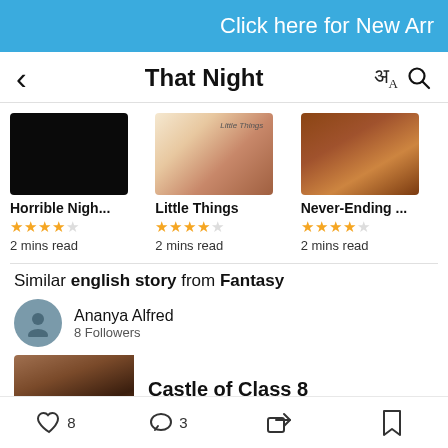Click here for New Arr
That Night
[Figure (screenshot): Book cover for Horrible Nigh... - dark/black image]
Horrible Nigh...
★★★★☆
2 mins read
[Figure (screenshot): Book cover for Little Things - books illustration]
Little Things
★★★★☆
2 mins read
[Figure (screenshot): Book cover for Never-Ending ... - wooden bridge]
Never-Ending ...
★★★★☆
2 mins read
Similar english story from Fantasy
Ananya Alfred
8 Followers
[Figure (photo): Book cover for Castle of Class 8 - dark building silhouette]
Castle of Class 8
♡ 8   ○ 3   share   bookmark